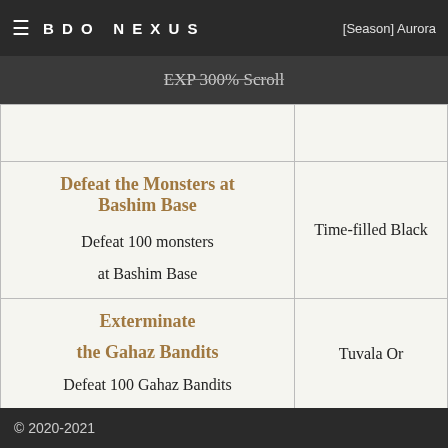BDO NEXUS | [Season] Aurora
EXP 300% Scroll
| Quest | Reward |
| --- | --- |
| Defeat the Monsters at Bashim Base
Defeat 100 monsters at Bashim Base | Time-filled Black |
| Exterminate the Gahaz Bandits
Defeat 100 Gahaz Bandits | Tuvala Or |
| Leveling Up, |  |
© 2020-2021